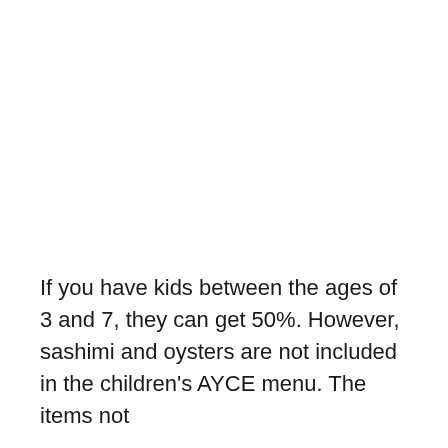If you have kids between the ages of 3 and 7, they can get 50%. However, sashimi and oysters are not included in the children's AYCE menu. The items not